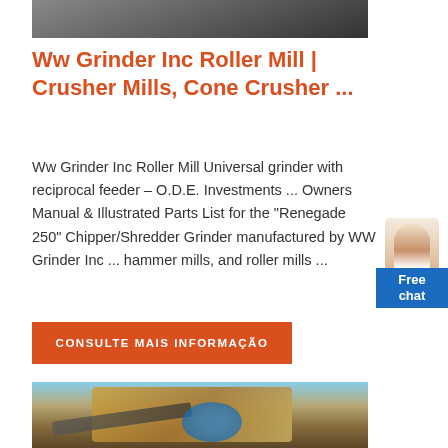[Figure (photo): Partial view of industrial grinding/crushing equipment, top portion cropped]
Ww Grinder Inc Roller Mill | Crusher Mills, Cone Crusher ...
Ww Grinder Inc Roller Mill Universal grinder with reciprocal feeder – O.D.E. Investments ... Owners Manual & Illustrated Parts List for the "Renegade 250" Chipper/Shredder Grinder manufactured by WW Grinder Inc ... hammer mills, and roller mills ...
[Figure (other): Free chat widget with female figure illustration and blue Free chat button]
CONSULTE MAIS INFORMAÇÃO
[Figure (photo): Large industrial cone crusher machine in outdoor setting with blue sky and dust]